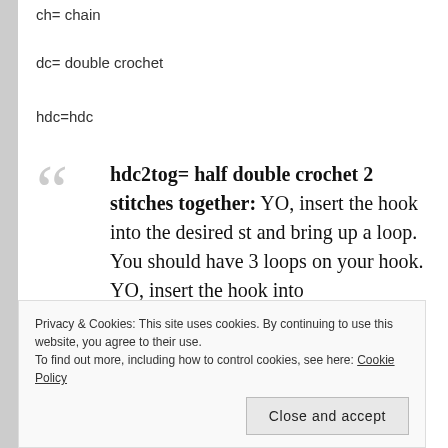ch= chain
dc= double crochet
hdc=hdc
hdc2tog= half double crochet 2 stitches together: YO, insert the hook into the desired st and bring up a loop. You should have 3 loops on your hook. YO, insert the hook into
Privacy & Cookies: This site uses cookies. By continuing to use this website, you agree to their use.
To find out more, including how to control cookies, see here: Cookie Policy
Close and accept